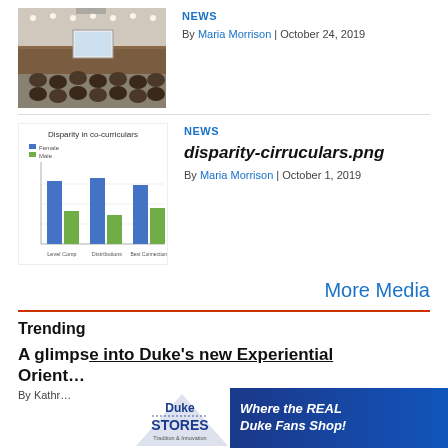[Figure (photo): Conference room with audience seated, screen visible at front, overhead lighting]
NEWS
By Maria Morrison | October 24, 2019
[Figure (bar-chart): Disparity in co-curriculars]
NEWS
disparity-cirruculars.png
By Maria Morrison | October 1, 2019
More Media
Trending
A glimpse into Duke's new Experiential Orient…
By Kathr…
[Figure (advertisement): Duke Stores advertisement - Where the REAL Duke Fans Shop!]